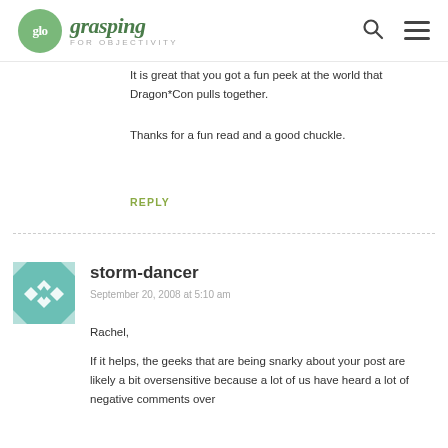glo grasping FOR OBJECTIVITY
It is great that you got a fun peek at the world that Dragon*Con pulls together.
Thanks for a fun read and a good chuckle.
REPLY
storm-dancer
September 20, 2008 at 5:10 am
Rachel,
If it helps, the geeks that are being snarky about your post are likely a bit oversensitive because a lot of us have heard a lot of negative comments over